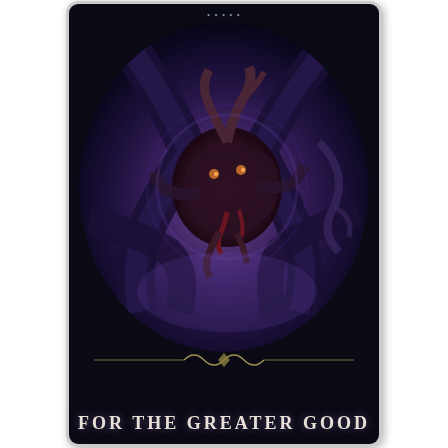[Figure (illustration): Book or game card cover featuring a dark fantasy illustration. A dark background with an oval/elliptical frame containing a purple-hued tentacled eldritch creature or monster with dark tendrils extending outward, glowing eyes, and a central dark mass. The background inside the oval is deep purple and violet. At the top, small text appears. At the bottom, decorative gold/olive filigree ornament is visible. Below that, the title 'FOR THE GREATER GOOD' appears in large spaced serif uppercase letters in cream/white color on a dark background.]
FOR THE GREATER GOOD